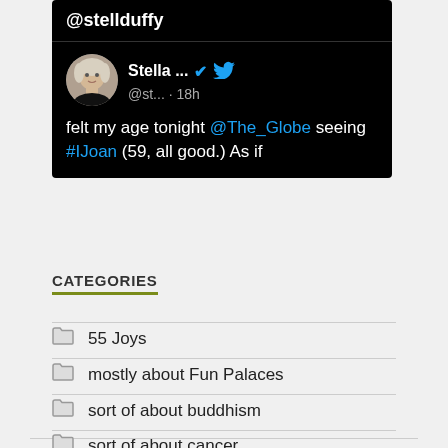[Figure (screenshot): Screenshot of a Twitter post by @stellduffy. Header bar shows '@stellduffy' in white on black. Tweet card shows user 'Stella ...' with blue verified checkmark and Twitter bird icon, handle '@st... · 18h'. Tweet text reads: 'felt my age tonight @The_Globe seeing #IJoan (59, all good.) As if']
CATEGORIES
55 Joys
mostly about Fun Palaces
sort of about buddhism
sort of about cancer